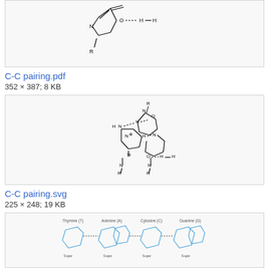[Figure (schematic): Chemical structure diagram showing C-C base pairing with hydrogen bonds, partial view at top]
C-C pairing.pdf
352 × 387; 8 KB
[Figure (schematic): Chemical structure diagram showing C-C base pairing (SVG version) with hydrogen bonds between two cytosine rings, with R substituents and N+, H, O, N labels]
C-C pairing.svg
225 × 248; 19 KB
[Figure (schematic): Chemical structure diagrams showing multiple base pairing configurations with labeled variants (Thymine, Adenine, Cytosine, Guanine)]